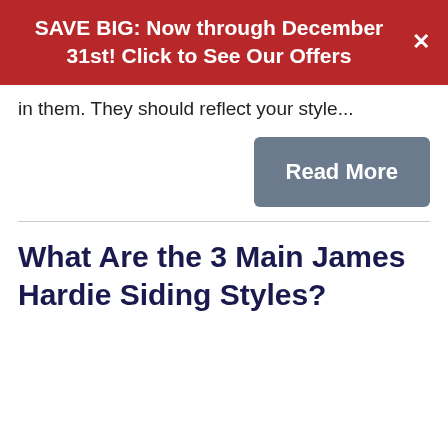SAVE BIG: Now through December 31st! Click to See Our Offers
in them. They should reflect your style...
Read More
What Are the 3 Main James Hardie Siding Styles?